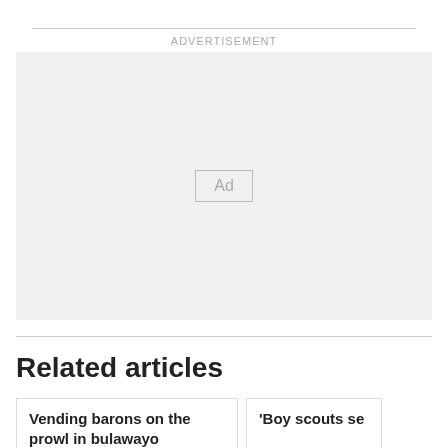ADVERTISEMENT
[Figure (other): Advertisement placeholder box with 'Ad' label in center]
Related articles
Vending barons on the prowl in bulawayo
'Boy scouts se...